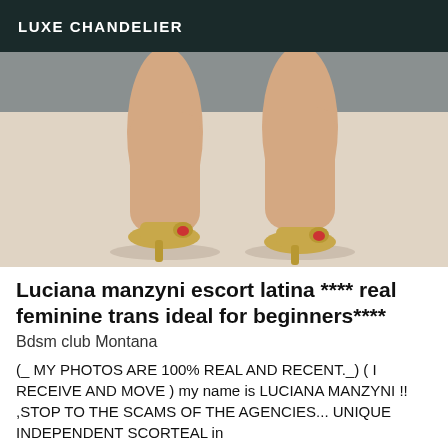LUXE CHANDELIER
[Figure (photo): Photo showing legs from knee down wearing gold high-heeled shoes on a light background]
Luciana manzyni escort latina **** real feminine trans ideal for beginners****
Bdsm club Montana
(_ MY PHOTOS ARE 100% REAL AND RECENT._) ( I RECEIVE AND MOVE ) my name is LUCIANA MANZYNI !! ,STOP TO THE SCAMS OF THE AGENCIES... UNIQUE INDEPENDENT SCORTEAL in